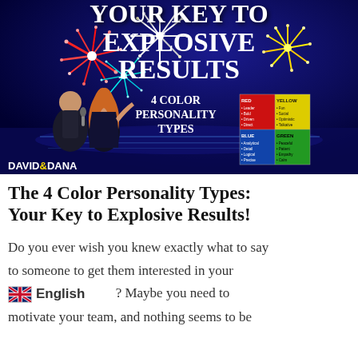[Figure (illustration): Dark blue night sky background with colorful fireworks exploding in red, white, teal and gold. Two people stand at bottom left (a man in dark jacket holding microphone and a woman with red hair gesturing upward). Large white bold text reads 'YOUR KEY TO EXPLOSIVE RESULTS' and '4 COLOR PERSONALITY TYPES'. A 2x2 color grid showing red, yellow, blue, green quadrants with personality traits is at bottom right. 'DAVID & DANA' text at bottom left.]
The 4 Color Personality Types: Your Key to Explosive Results!
Do you ever wish you knew exactly what to say to someone to get them interested in your [flag: English] ? Maybe you need to motivate your team, and nothing seems to be